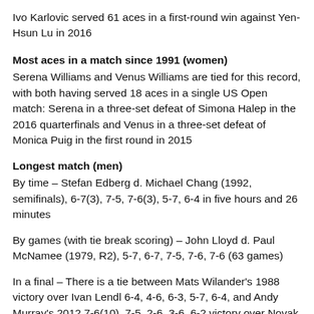Ivo Karlovic served 61 aces in a first-round win against Yen-Hsun Lu in 2016
Most aces in a match since 1991 (women)
Serena Williams and Venus Williams are tied for this record, with both having served 18 aces in a single US Open match: Serena in a three-set defeat of Simona Halep in the 2016 quarterfinals and Venus in a three-set defeat of Monica Puig in the first round in 2015
Longest match (men)
By time – Stefan Edberg d. Michael Chang (1992, semifinals), 6-7(3), 7-5, 7-6(3), 5-7, 6-4 in five hours and 26 minutes
By games (with tie break scoring) – John Lloyd d. Paul McNamee (1979, R2), 5-7, 6-7, 7-5, 7-6, 7-6 (63 games)
In a final – There is a tie between Mats Wilander's 1988 victory over Ivan Lendl 6-4, 4-6, 6-3, 5-7, 6-4, and Andy Murray's 2012 7-6(10), 7-5, 2-6, 3-6, 6-2 victory over Novak Djokovic: Both matches took four hours and 54 minutes